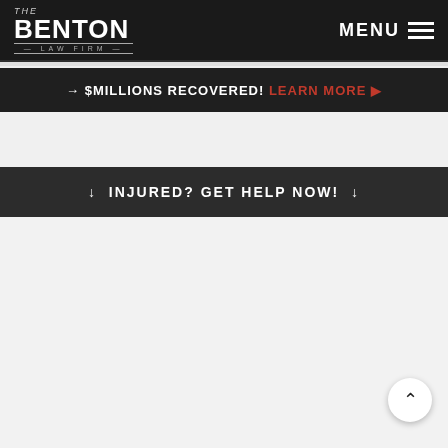The Benton Law Firm | MENU
→ $MILLIONS RECOVERED! LEARN MORE ▶
↓ INJURED? GET HELP NOW! ↓